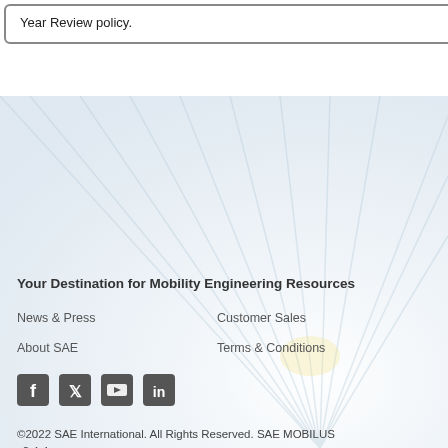Year Review policy.
Your Destination for Mobility Engineering Resources
News & Press
Customer Sales
About SAE
Terms & Conditions
[Figure (illustration): Social media icons: Facebook, Twitter, YouTube, LinkedIn]
©2022 SAE International. All Rights Reserved. SAE MOBILUS v3.4.4